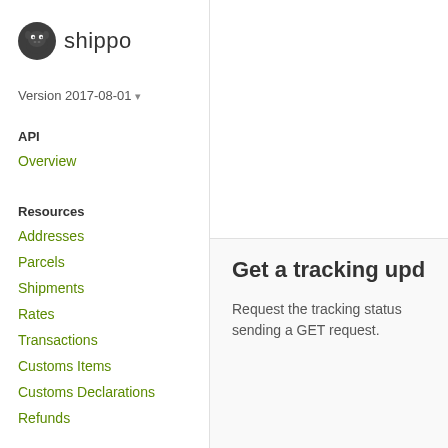[Figure (logo): Shippo hippo logo icon with the text 'shippo' in dark gray]
Version 2017-08-01 ▾
API
Overview
Resources
Addresses
Parcels
Shipments
Rates
Transactions
Customs Items
Customs Declarations
Refunds
Get a tracking upd
Request the tracking status sending a GET request.